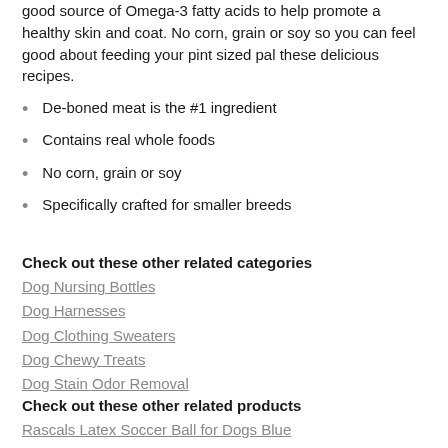good source of Omega-3 fatty acids to help promote a healthy skin and coat. No corn, grain or soy so you can feel good about feeding your pint sized pal these delicious recipes.
De-boned meat is the #1 ingredient
Contains real whole foods
No corn, grain or soy
Specifically crafted for smaller breeds
Check out these other related categories
Dog Nursing Bottles
Dog Harnesses
Dog Clothing Sweaters
Dog Chewy Treats
Dog Stain Odor Removal
Check out these other related products
Rascals Latex Soccer Ball for Dogs Blue
Spot Fun Sloth Plush Dog Toy Assorted Colors 7"